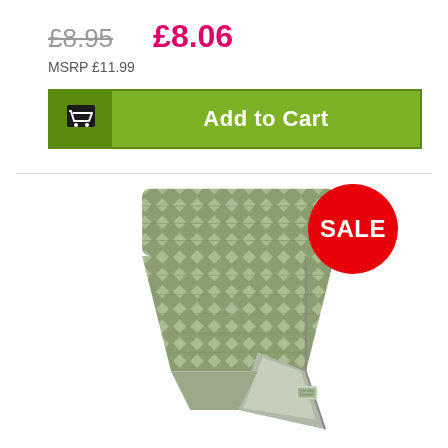£8.95 (strikethrough) £8.06 (sale price)
MSRP £11.99
[Figure (screenshot): Green Add to Cart button with shopping cart icon on dark green left section]
[Figure (photo): Green patterned sleeping bag laid flat and partially open, with a red SALE badge overlay]